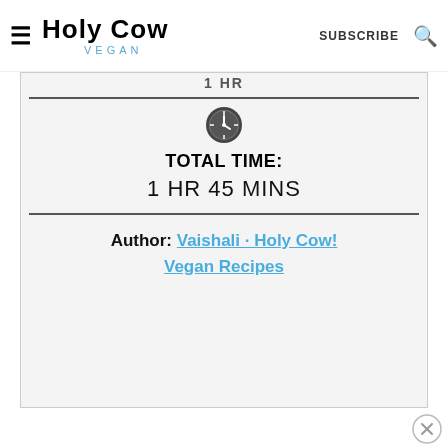Holy Cow Vegan — SUBSCRIBE
1 HR
TOTAL TIME: 1 HR 45 MINS
Author: Vaishali · Holy Cow! Vegan Recipes